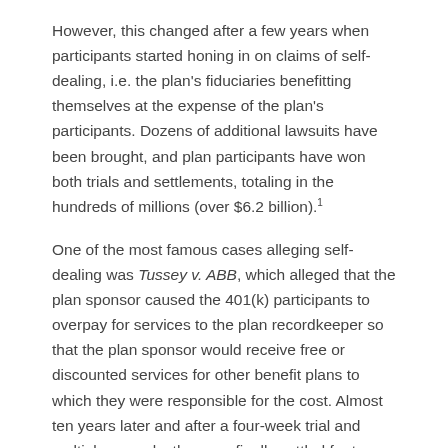However, this changed after a few years when participants started honing in on claims of self-dealing, i.e. the plan's fiduciaries benefitting themselves at the expense of the plan's participants. Dozens of additional lawsuits have been brought, and plan participants have won both trials and settlements, totaling in the hundreds of millions (over $6.2 billion).1
One of the most famous cases alleging self-dealing was Tussey v. ABB, which alleged that the plan sponsor caused the 401(k) participants to overpay for services to the plan recordkeeper so that the plan sponsor would receive free or discounted services for other benefit plans to which they were responsible for the cost. Almost ten years later and after a four-week trial and multiple appeals, the case finally settled for tens of millions of dollars.
Why Lawsuits Arise
While plan sponsors accidently self-dealing will happen from time to time, many plan sponsors have heeded the lessons from these lawsuits and have addressed any outstanding